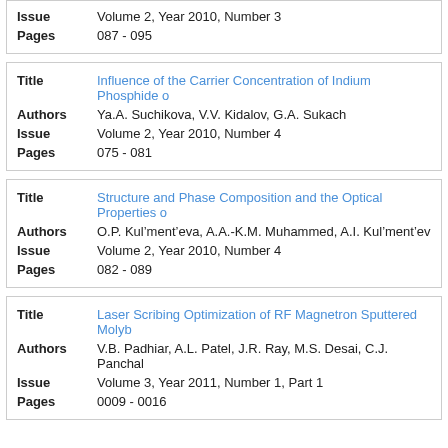| Field | Value |
| --- | --- |
| Issue | Volume 2, Year 2010, Number 3 |
| Pages | 087 - 095 |
| Field | Value |
| --- | --- |
| Title | Influence of the Carrier Concentration of Indium Phosphide o... |
| Authors | Ya.A. Suchikova, V.V. Kidalov, G.A. Sukach |
| Issue | Volume 2, Year 2010, Number 4 |
| Pages | 075 - 081 |
| Field | Value |
| --- | --- |
| Title | Structure and Phase Composition and the Optical Properties o... |
| Authors | O.P. Kul’ment’eva, A.A.-K.M. Muhammed, A.I. Kul’ment’ev |
| Issue | Volume 2, Year 2010, Number 4 |
| Pages | 082 - 089 |
| Field | Value |
| --- | --- |
| Title | Laser Scribing Optimization of RF Magnetron Sputtered Molyb... |
| Authors | V.B. Padhiar, A.L. Patel, J.R. Ray, M.S. Desai, C.J. Panchal |
| Issue | Volume 3, Year 2011, Number 1, Part 1 |
| Pages | 0009 - 0016 |